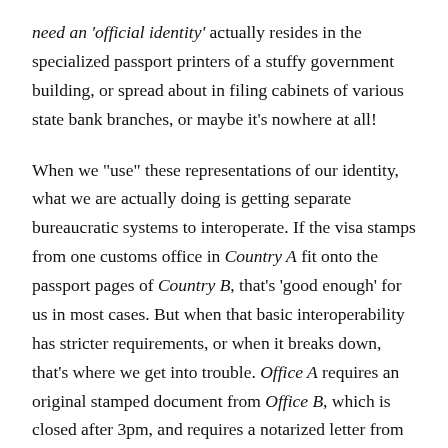need an 'official identity' actually resides in the specialized passport printers of a stuffy government building, or spread about in filing cabinets of various state bank branches, or maybe it's nowhere at all!
When we "use" these representations of our identity, what we are actually doing is getting separate bureaucratic systems to interoperate. If the visa stamps from one customs office in Country A fit onto the passport pages of Country B, that's 'good enough' for us in most cases. But when that basic interoperability has stricter requirements, or when it breaks down, that's where we get into trouble. Office A requires an original stamped document from Office B, which is closed after 3pm, and requires a notarized letter from Department C, which is in a different part of the city and needs approval first from Office A… some of us are all too familiar with being trapped in this sort of prison of paperwork. This is where collusion and corruption are born, where we start the snowball effect that ends up in a terrible response to social distress,